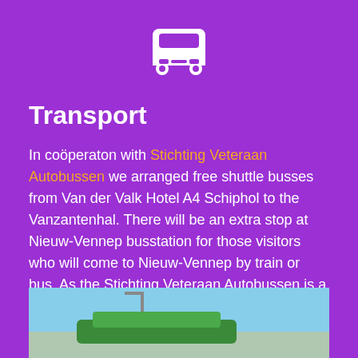[Figure (illustration): White bus/vehicle icon on purple background]
Transport
In coöperaton with Stichting Veteraan Autobussen we arranged free shuttle busses from Van der Valk Hotel A4 Schiphol to the Vanzantenhal. There will be an extra stop at Nieuw-Vennep busstation for those visitors who will come to Nieuw-Vennep by train or bus. As the Stichting Veteraan Autobussen is a non-profit organisation a donation to the busdrivers is appreciated!
[Figure (photo): Photo of a bus or bus station exterior, partially visible at the bottom of the page]